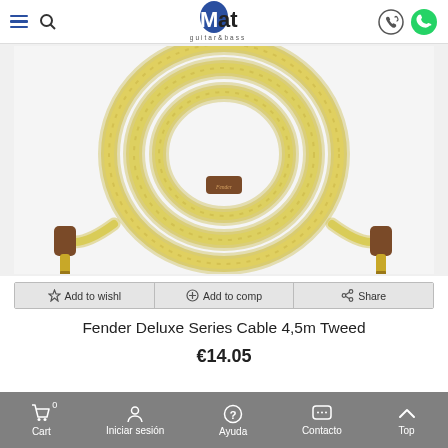Mat guitar&bass — navigation header with hamburger menu, search, logo, phone and WhatsApp icons
[Figure (photo): Fender Deluxe Series Cable 4.5m Tweed — twisted yellow-green braided cable coiled with gold 1/4-inch TS connectors and brown leather Fender-branded strap]
Add to wishl | Add to comp | Share
Fender Deluxe Series Cable 4,5m Tweed
€14.05
Cart 0 | Iniciar sesión | Ayuda | Contacto | Top